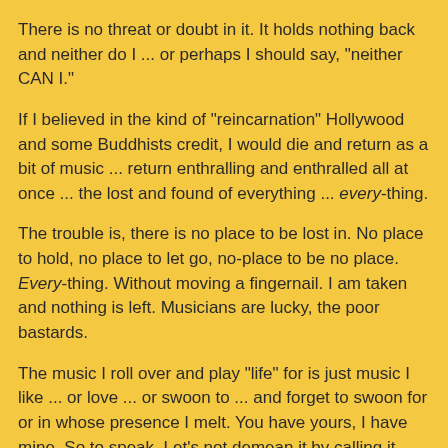There is no threat or doubt in it. It holds nothing back and neither do I ... or perhaps I should say, "neither CAN I."
If I believed in the kind of "reincarnation" Hollywood and some Buddhists credit, I would die and return as a bit of music ... return enthralling and enthralled all at once ... the lost and found of everything ... every-thing.
The trouble is, there is no place to be lost in. No place to hold, no place to let go, no-place to be no place. Every-thing. Without moving a fingernail. I am taken and nothing is left. Musicians are lucky, the poor bastards.
The music I roll over and play "life" for is just music I like ... or love ... or swoon to ... and forget to swoon for or in whose presence I melt. You have yours, I have mine. So to speak. Let's not demean it by calling it "love" or "mystery" or "magic."
No
more